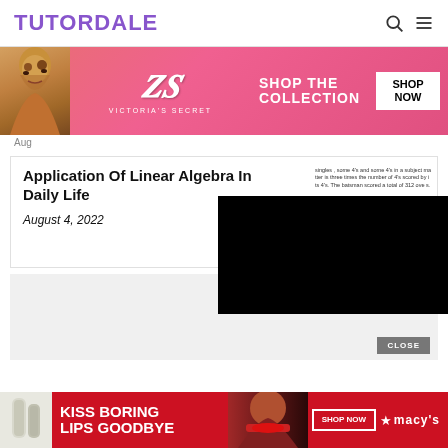TUTORDALE
[Figure (photo): Victoria's Secret banner advertisement with model, VS logo, SHOP THE COLLECTION text, and SHOP NOW button on pink background]
Aug
Application Of Linear Algebra In Daily Life
August 4, 2022
[Figure (screenshot): Sidebar snippet showing text about singles, 4's and some 4's in a subject matter, botsman scored a total of 312 over, bonus based on Botsman's total score in times 1 by the batsman. To find the number of singles, 4's and 4's and a green button.]
[Figure (screenshot): Black video overlay panel]
[Figure (photo): Gray advertisement placeholder box with CLOSE button]
[Figure (photo): Macy's advertisement banner: KISS BORING LIPS GOODBYE with SHOP NOW button and Macy's star logo on red background]